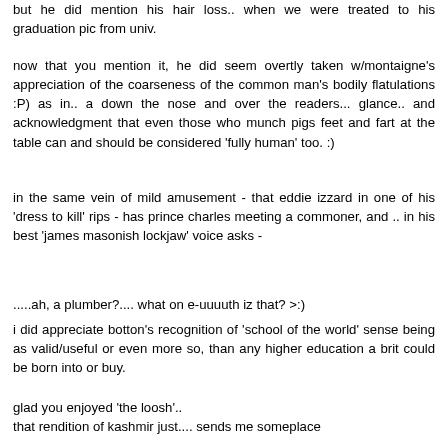but he did mention his hair loss.. when we were treated to his graduation pic from univ.
now that you mention it, he did seem overtly taken w/montaigne's appreciation of the coarseness of the common man's bodily flatulations :P) as in.. a down the nose and over the readers... glance.. and acknowledgment that even those who munch pigs feet and fart at the table can and should be considered 'fully human' too. :)
in the same vein of mild amusement - that eddie izzard in one of his 'dress to kill' rips - has prince charles meeting a commoner, and .. in his best 'james masonish lockjaw' voice asks -
.....ah, a plumber?.... what on e-uuuuth iz that? >:)
i did appreciate botton's recognition of 'school of the world' sense being as valid/useful or even more so, than any higher education a brit could be born into or buy.
glad you enjoyed 'the loosh'.. that rendition of kashmir just.... sends me someplace